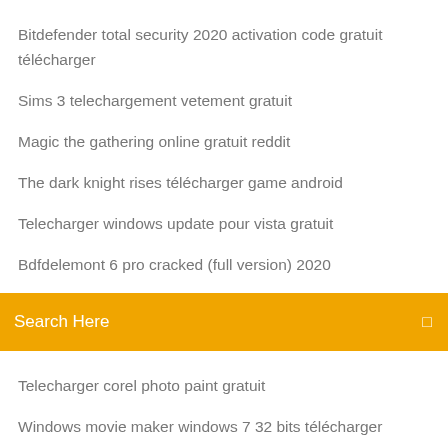Bitdefender total security 2020 activation code gratuit télécharger
Sims 3 telechargement vetement gratuit
Magic the gathering online gratuit reddit
The dark knight rises télécharger game android
Telecharger windows update pour vista gratuit
Bdfdelemont 6 pro cracked (full version) 2020
[Figure (screenshot): Orange search bar with text 'Search Here' and a search icon on the right]
Telecharger corel photo paint gratuit
Windows movie maker windows 7 32 bits télécharger
Diagramme de gantt sous excel gratuit
Jeu educatif ce2 table de multiplication
Burn cd windows 10 iso
Ou entrer le code wifi sur un ordinateur portable
Gta san andreas voiture de course
Convertir fichier audio windows media en mp3
Télécharger vlc for android tv
Telecharger photo de profil facebook gratuit